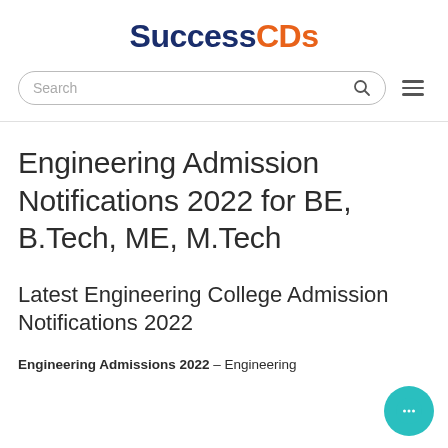SuccessCDs
[Figure (screenshot): Search bar with magnifying glass icon and hamburger menu icon]
Engineering Admission Notifications 2022 for BE, B.Tech, ME, M.Tech
Latest Engineering College Admission Notifications 2022
Engineering Admissions 2022 – Engineering